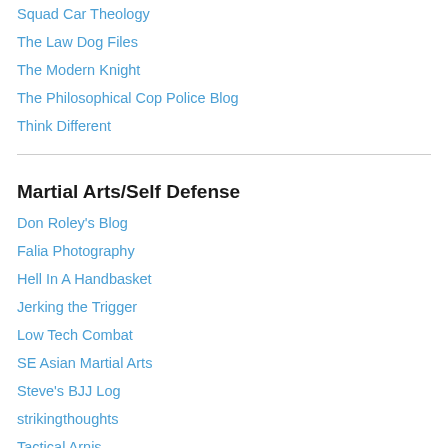Squad Car Theology
The Law Dog Files
The Modern Knight
The Philosophical Cop Police Blog
Think Different
Martial Arts/Self Defense
Don Roley's Blog
Falia Photography
Hell In A Handbasket
Jerking the Trigger
Low Tech Combat
SE Asian Martial Arts
Steve's BJJ Log
strikingthoughts
Tactical Arnis
TDA Training
The Instinctive Edge™